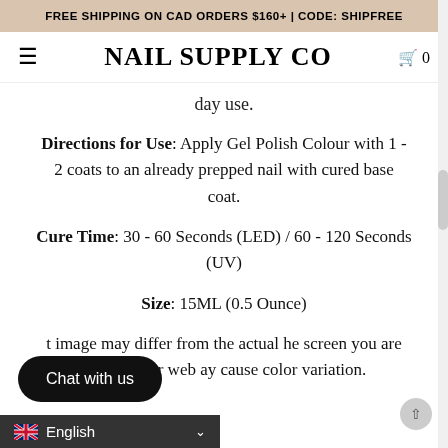FREE SHIPPING ON CAD ORDERS $160+ | CODE: SHIPFREE
NAIL SUPPLY CO
day use.
Directions for Use: Apply Gel Polish Colour with 1 - 2 coats to an already prepped nail with cured base coat.
Cure Time: 30 - 60 Seconds (LED) / 60 - 120 Seconds (UV)
Size: 15ML (0.5 Ounce)
t image may differ from the actual he screen you are viewing our web ay cause color variation.